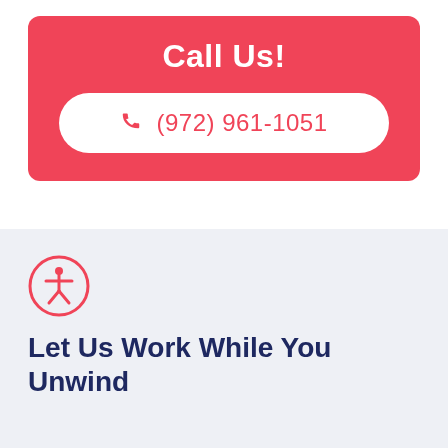Call Us!
(972) 961-1051
[Figure (logo): Accessibility icon — a person with arms and legs spread inside a circle, red outline circle on light blue background]
Let Us Work While You Unwind